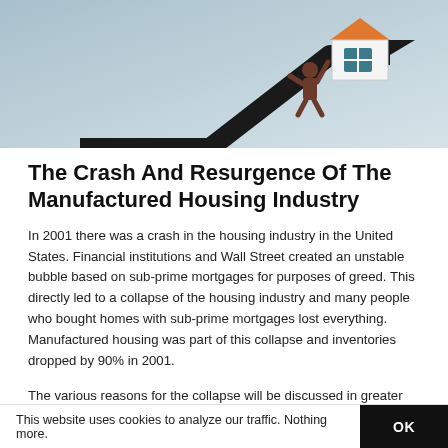[Figure (illustration): Banner image with a light blue-grey gradient background. A cartoon figure of a person carries a house icon up a rising black arrow, symbolizing growth in the housing industry. The house icon has an orange roof and dark window.]
The Crash And Resurgence Of The Manufactured Housing Industry
In 2001 there was a crash in the housing industry in the United States. Financial institutions and Wall Street created an unstable bubble based on sub-prime mortgages for purposes of greed. This directly led to a collapse of the housing industry and many people who bought homes with sub-prime mortgages lost everything. Manufactured housing was part of this collapse and inventories dropped by 90% in 2001.
The various reasons for the collapse will be discussed in greater detail below but the short answer is corporate and
This website uses cookies to analyze our traffic. Nothing more.   OK